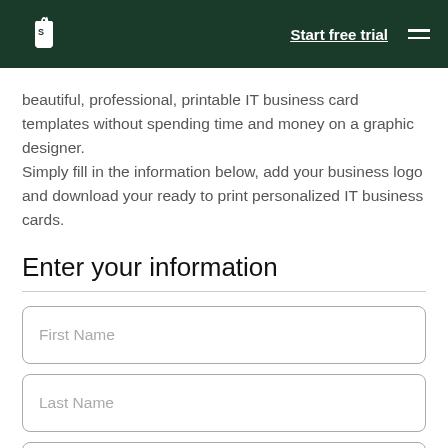Shopify — Start free trial
beautiful, professional, printable IT business card templates without spending time and money on a graphic designer.
Simply fill in the information below, add your business logo and download your ready to print personalized IT business cards.
Enter your information
First Name
Last Name